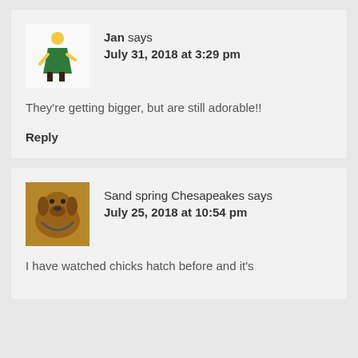[Figure (illustration): Avatar illustration of a person in a green dress walking, with yellow hair]
Jan says
July 31, 2018 at 3:29 pm
They're getting bigger, but are still adorable!!
Reply
[Figure (photo): Photo of a brown dog (Chesapeake Bay Retriever)]
Sand spring Chesapeakes says
July 25, 2018 at 10:54 pm
I have watched chicks hatch before and it's